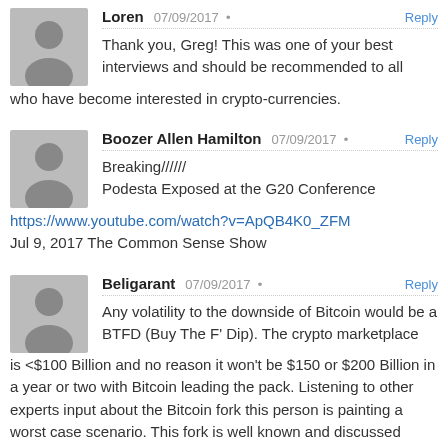Loren · 07/09/2017 · Reply
Thank you, Greg! This was one of your best interviews and should be recommended to all who have become interested in crypto-currencies.
Boozer Allen Hamilton · 07/09/2017 · Reply
Breaking//////
Podesta Exposed at the G20 Conference
https://www.youtube.com/watch?v=ApQB4K0_ZFM
Jul 9, 2017 The Common Sense Show
Beligarant · 07/09/2017 · Reply
Any volatility to the downside of Bitcoin would be a BTFD (Buy The F' Dip). The crypto marketplace is <$100 Billion and no reason it won't be $150 or $200 Billion in a year or two with Bitcoin leading the pack. Listening to other experts input about the Bitcoin fork this person is painting a worst case scenario. This fork is well known and discussed